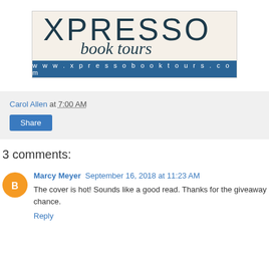[Figure (logo): Xpresso Book Tours logo with cursive 'book tours' text and website URL www.xpressobooktours.com on a blue bar]
Carol Allen at 7:00 AM
Share
3 comments:
Marcy Meyer September 16, 2018 at 11:23 AM
The cover is hot! Sounds like a good read. Thanks for the giveaway chance.
Reply